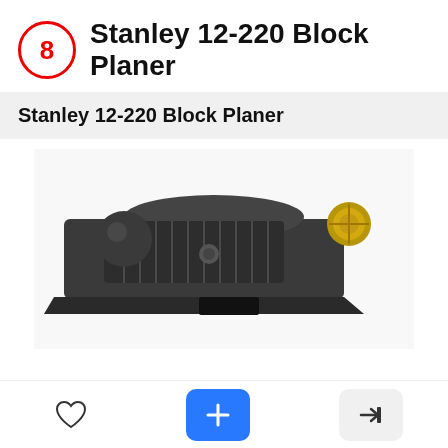8 Stanley 12-220 Block Planer
Stanley 12-220 Block Planer
[Figure (photo): Close-up photo of a Stanley 12-220 Block Planer tool, showing dark metal body with textured grip and brass adjustment knob, photographed at an angle on a white background.]